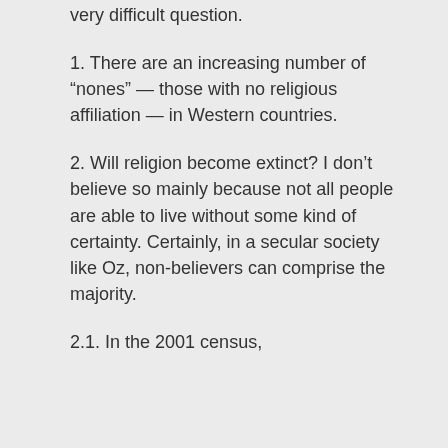very difficult question.
1. There are an increasing number of “nones” — those with no religious affiliation — in Western countries.
2. Will religion become extinct? I don’t believe so mainly because not all people are able to live without some kind of certainty. Certainly, in a secular society like Oz, non-believers can comprise the majority.
2.1. In the 2001 census,